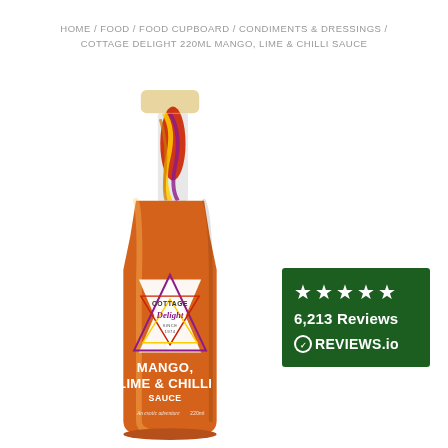HOME / FOOD / FOOD CUPBOARD / CONDIMENTS & DRESSINGS / COTTAGE DELIGHT 220ML MANGO, LIME & CHILLI SAUCE
[Figure (photo): A bottle of Cottage Delight 220ml Mango, Lime & Chilli Sauce. The bottle has an orange sauce inside, a cream/beige cap, and a label showing the Cottage Delight brand with a triangular logo and the text MANGO, LIME & CHILLI SAUCE. The neck of the bottle features a colorful swirling pattern in red, yellow, and purple.]
[Figure (infographic): A dark green Reviews.io badge showing 5 stars, '6,213 Reviews', and the Reviews.io logo with a circular icon.]